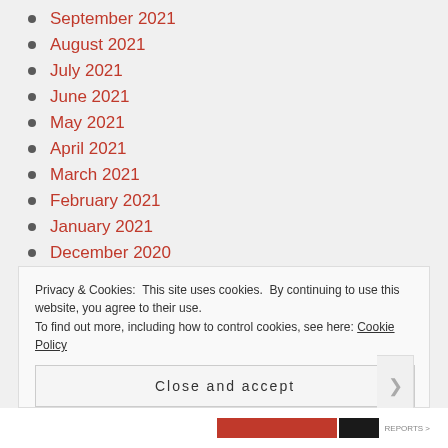September 2021
August 2021
July 2021
June 2021
May 2021
April 2021
March 2021
February 2021
January 2021
December 2020
November 2020
October 2020
Privacy & Cookies: This site uses cookies. By continuing to use this website, you agree to their use. To find out more, including how to control cookies, see here: Cookie Policy
Close and accept